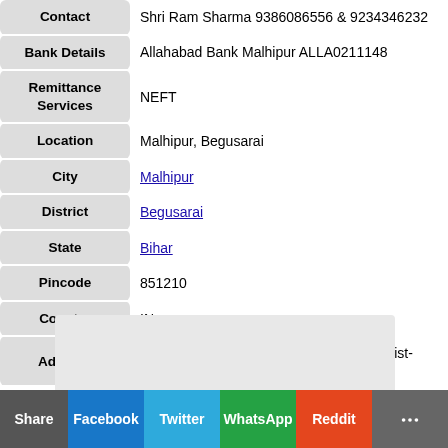| Field | Value |
| --- | --- |
| Contact | Shri Ram Sharma 9386086556 & 9234346232 |
| Bank Details | Allahabad Bank Malhipur ALLA0211148 |
| Remittance Services | NEFT |
| Location | Malhipur, Begusarai |
| City | Malhipur |
| District | Begusarai |
| State | Bihar |
| Pincode | 851210 |
| Country | IN |
| Address | Vill & po-malhipur, via-sahebpur kamal, dist-begusarai(bihar) |
[Figure (other): Advertisement placeholder box (light grey rectangle)]
Share  Facebook  Twitter  WhatsApp  Reddit